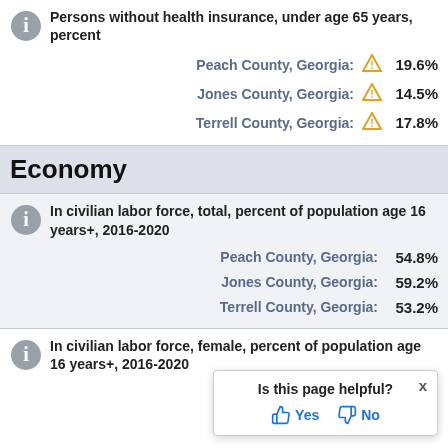Persons without health insurance, under age 65 years, percent
Peach County, Georgia: ⚠ 19.6%
Jones County, Georgia: ⚠ 14.5%
Terrell County, Georgia: ⚠ 17.8%
Economy
In civilian labor force, total, percent of population age 16 years+, 2016-2020
Peach County, Georgia: 54.8%
Jones County, Georgia: 59.2%
Terrell County, Georgia: 53.2%
In civilian labor force, female, percent of population age 16 years+, 2016-2020
Peach County, Georgia: (truncated)
Jones County, Georgia: (truncated)